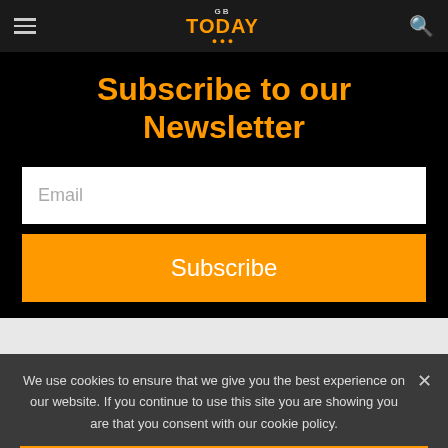GB Today — navigation bar with hamburger menu and search icon
Subscribe to our Newsletter
Email
Subscribe
We use cookies to ensure that we give you the best experience on our website. If you continue to use this site you are showing you are that you consent with our cookie policy.
Ok